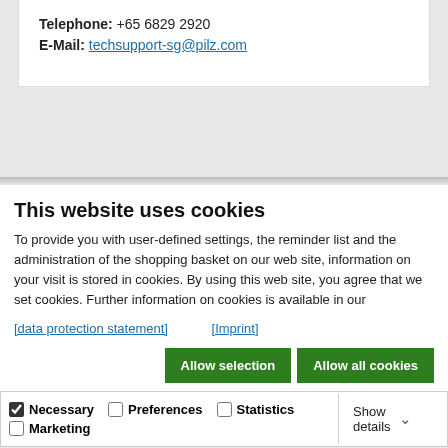Telephone: +65 6829 2920
E-Mail: techsupport-sg@pilz.com
This website uses cookies
To provide you with user-defined settings, the reminder list and the administration of the shopping basket on our web site, information on your visit is stored in cookies. By using this web site, you agree that we set cookies. Further information on cookies is available in our
[data protection statement]  [Imprint]
Allow selection   Allow all cookies
Necessary  Preferences  Statistics  Marketing  Show details